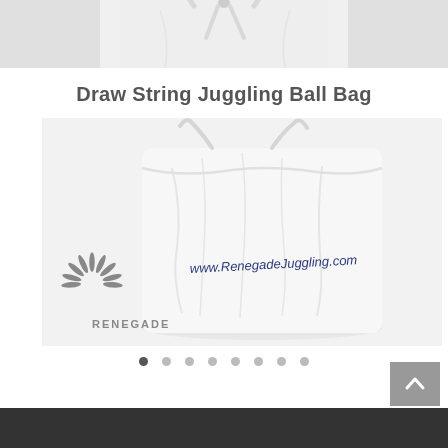[Figure (photo): Top portion of a white drawstring bag visible at the top of the page, cropped]
Draw String Juggling Ball Bag
[Figure (photo): White cotton drawstring juggling ball bag with 'www.RenegadeJuggling.com' printed in navy blue text on the front, and the Renegade logo (grey leaf/plant design with 'RENEGADE' text) visible in the lower left. The bag sits on a white surface.]
[Figure (other): Image carousel navigation dots — 8 dots total, first dot is filled/active, remaining 7 are outlined/grey]